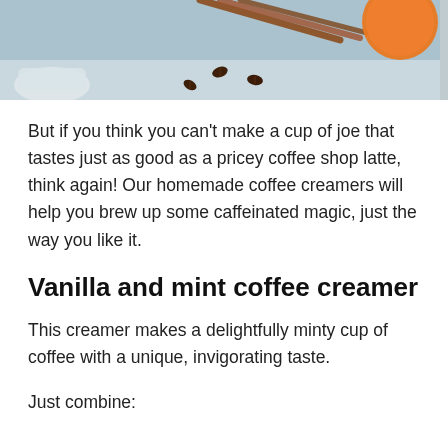[Figure (photo): Top portion of a photo showing coffee-related items on a light blue/grey surface, including cinnamon sticks, an orange, and coffee beans scattered on the surface.]
But if you think you can't make a cup of joe that tastes just as good as a pricey coffee shop latte, think again! Our homemade coffee creamers will help you brew up some caffeinated magic, just the way you like it.
Vanilla and mint coffee creamer
This creamer makes a delightfully minty cup of coffee with a unique, invigorating taste.
Just combine: